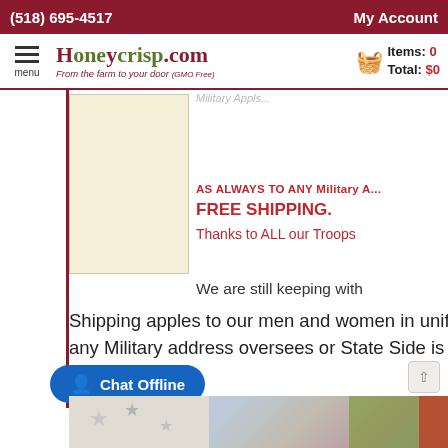(518) 695-4517   My Account
[Figure (screenshot): Honeycrisp.com navigation bar with logo, hamburger menu, and shopping cart showing Items: 0, Total: $0]
AS ALWAYS TO ANY Military A... FREE SHIPPING. Thanks to ALL our Troops
We are still keeping with
Shipping apples to our men and women in uniform. Shipping to any Military address oversees or State Side is FREE
[Figure (other): Chat Offline button in blue rounded rectangle]
Thank you to our troops in harms way but also thank you to those who serve state side. As a company, our friends and our free shipping. When you order if you would like you can contribute to the wonderful men and women who protect us. Send the free shipping at checkout! Our thoughts and prayers are with their families. Take the time and thank one today! May you know a person or family that really needs a pick me up? Contact us
[Figure (photo): Bottom image showing American flag and what appears to be military/patriotic imagery]